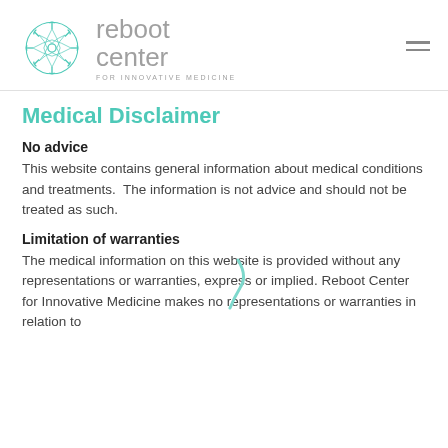[Figure (logo): Reboot Center for Innovative Medicine logo — teal circular snowflake/gear icon with gray sans-serif text 'reboot center FOR INNOVATIVE MEDICINE']
Medical Disclaimer
No advice
This website contains general information about medical conditions and treatments.  The information is not advice and should not be treated as such.
Limitation of warranties
The medical information on this website is provided without any representations or warranties, express or implied. Reboot Center for Innovative Medicine makes no representations or warranties in relation to